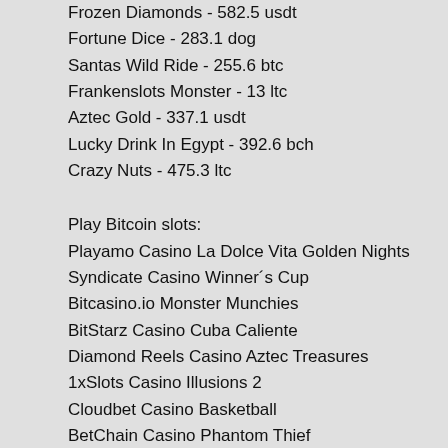Frozen Diamonds - 582.5 usdt
Fortune Dice - 283.1 dog
Santas Wild Ride - 255.6 btc
Frankenslots Monster - 13 ltc
Aztec Gold - 337.1 usdt
Lucky Drink In Egypt - 392.6 bch
Crazy Nuts - 475.3 ltc
Play Bitcoin slots:
Playamo Casino La Dolce Vita Golden Nights
Syndicate Casino Winner´s Cup
Bitcasino.io Monster Munchies
BitStarz Casino Cuba Caliente
Diamond Reels Casino Aztec Treasures
1xSlots Casino Illusions 2
Cloudbet Casino Basketball
BetChain Casino Phantom Thief
CryptoGames Gladiator Jackpot
Bspin.io Casino Chicago Nights
1xSlots Casino Super 7 Stars